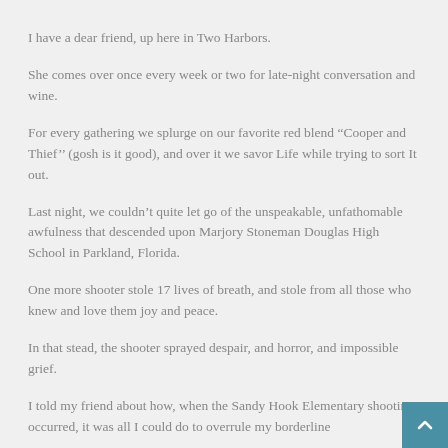I have a dear friend, up here in Two Harbors.
She comes over once every week or two for late-night conversation and wine.
For every gathering we splurge on our favorite red blend “Cooper and Thief’’ (gosh is it good), and over it we savor Life while trying to sort It out.
Last night, we couldn’t quite let go of the unspeakable, unfathomable awfulness that descended upon Marjory Stoneman Douglas High School in Parkland, Florida.
One more shooter stole 17 lives of breath, and stole from all those who knew and love them joy and peace.
In that stead, the shooter sprayed despair, and horror, and impossible grief.
I told my friend about how, when the Sandy Hook Elementary shooting occurred, it was all I could do to overrule my borderline